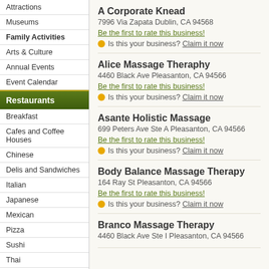Attractions
Museums
Family Activities
Arts & Culture
Annual Events
Event Calendar
Restaurants
Breakfast
Cafes and Coffee Houses
Chinese
Delis and Sandwiches
Italian
Japanese
Mexican
Pizza
Sushi
Thai
Vietnamese
Nightlife
Bars and Lounges
Sports & Recreation
A Corporate Knead
7996 Via Zapata Dublin, CA 94568
Be the first to rate this business!
Is this your business? Claim it now
Alice Massage Theraphy
4460 Black Ave Pleasanton, CA 94566
Be the first to rate this business!
Is this your business? Claim it now
Asante Holistic Massage
699 Peters Ave Ste A Pleasanton, CA 94566
Be the first to rate this business!
Is this your business? Claim it now
Body Balance Massage Therapy
164 Ray St Pleasanton, CA 94566
Be the first to rate this business!
Is this your business? Claim it now
Branco Massage Therapy
4460 Black Ave Ste I Pleasanton, CA 94566